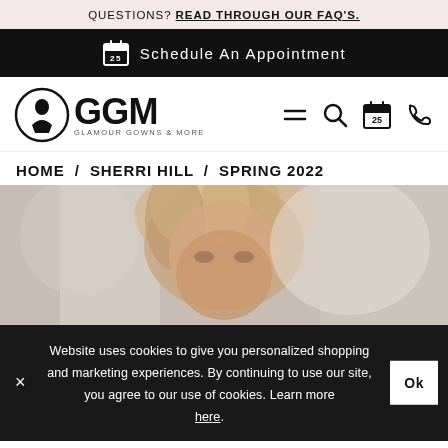QUESTIONS? READ THROUGH OUR FAQ'S.
Schedule An Appointment
[Figure (logo): GGM Glamour Gowns & More logo with dress form icon in circle]
HOME / SHERRI HILL / SPRING 2022
[Figure (photo): Close-up photo of a blonde woman looking at camera, fashion model]
Website uses cookies to give you personalized shopping and marketing experiences. By continuing to use our site, you agree to our use of cookies. Learn more here.